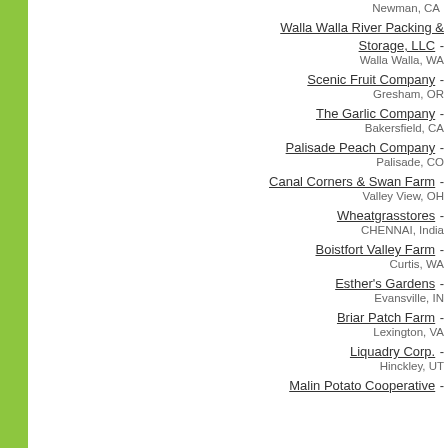Newman, CA
Walla Walla River Packing & Storage, LLC - Walla Walla, WA
Scenic Fruit Company - Gresham, OR
The Garlic Company - Bakersfield, CA
Palisade Peach Company - Palisade, CO
Canal Corners & Swan Farm - Valley View, OH
Wheatgrasstores - CHENNAI, India
Boistfort Valley Farm - Curtis, WA
Esther's Gardens - Evansville, IN
Briar Patch Farm - Lexington, VA
Liquadry Corp. - Hinckley, UT
Malin Potato Cooperative -